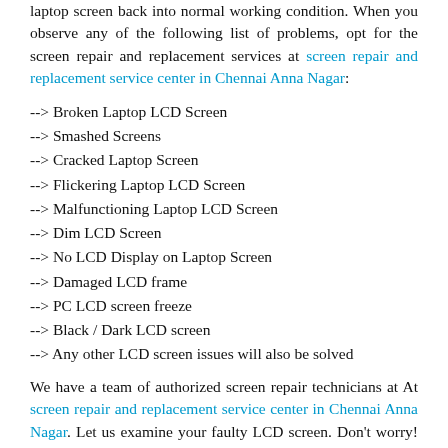laptop screen back into normal working condition. When you observe any of the following list of problems, opt for the screen repair and replacement services at screen repair and replacement service center in Chennai Anna Nagar:
--> Broken Laptop LCD Screen
--> Smashed Screens
--> Cracked Laptop Screen
--> Flickering Laptop LCD Screen
--> Malfunctioning Laptop LCD Screen
--> Dim LCD Screen
--> No LCD Display on Laptop Screen
--> Damaged LCD frame
--> PC LCD screen freeze
--> Black / Dark LCD screen
--> Any other LCD screen issues will also be solved
We have a team of authorized screen repair technicians at At screen repair and replacement service center in Chennai Anna Nagar. Let us examine your faulty LCD screen. Don't worry! Our experts can handle all top brands such as Asus, HP, Dell, Apple Mac, Samsung, Acer, Sony, Toshibs, Lenovo,